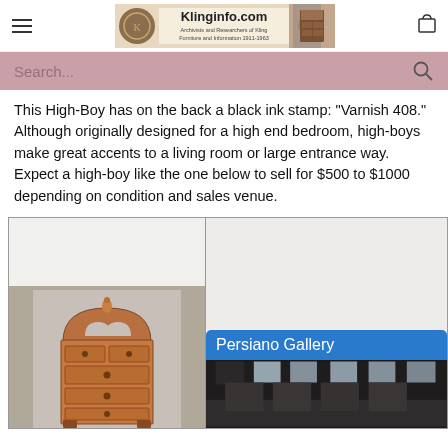Klinginfo.com — Archivists and Researchers of Kling Furniture and Information 1911-1963
This High-Boy has on the back a black ink stamp: "Varnish 408." Although originally designed for a high end bedroom, high-boys make great accents to a living room or large entrance way. Expect a high-boy like the one below to sell for $500 to $1000 depending on condition and sales venue.
[Figure (photo): Two-panel image gallery. Left panel: upper white space, lower photo of a Kling high-boy chest of drawers with decorative bonnet top, carved details, and bracket feet. Right panel: upper white space, lower Persiano Gallery banner with photo of gallery interior.]